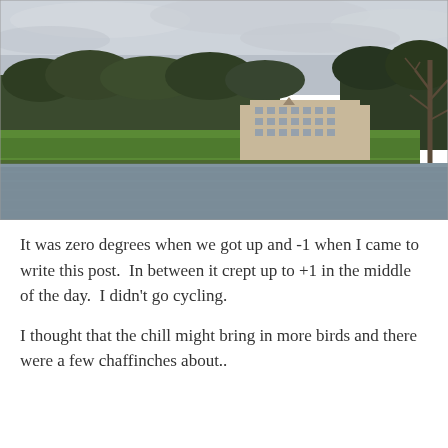[Figure (photo): A landscape photograph of a large Georgian country house or mansion situated across a lake or river. The building is a multi-storey stone structure with many windows, set against a backdrop of dense woodland trees. In the foreground is a wide expanse of calm grey water reflecting the overcast sky. To the right are bare winter trees. The sky is cloudy and overcast.]
It was zero degrees when we got up and -1 when I came to write this post.  In between it crept up to +1 in the middle of the day.  I didn't go cycling.
I thought that the chill might bring in more birds and there were a few chaffinches about..